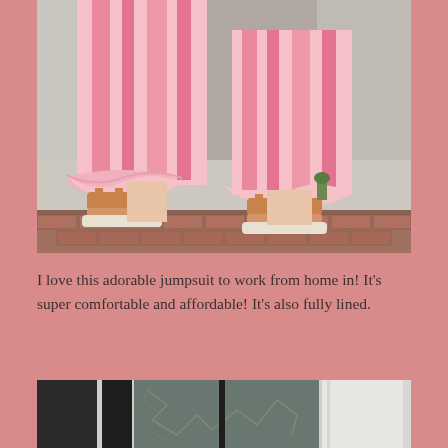[Figure (photo): Close-up of a person's legs wearing a pink and white tie-dye ruffled jumpsuit with tan leather platform sandals, standing on a city sidewalk with brick curb]
I love this adorable jumpsuit to work from home in! It's super comfortable and affordable! It's also fully lined.
[Figure (photo): Partial view of a building entrance with dark glass doors and white columns, cropped at bottom of page]